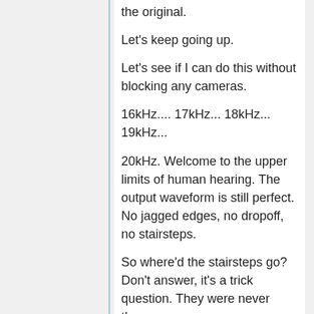the original.
Let's keep going up.
Let's see if I can do this without blocking any cameras.
16kHz.... 17kHz... 18kHz... 19kHz...
20kHz. Welcome to the upper limits of human hearing. The output waveform is still perfect. No jagged edges, no dropoff, no stairsteps.
So where'd the stairsteps go? Don't answer, it's a trick question. They were never there.
Drawing a digital waveform as a stairstep... was wrong to begin with.
Why? A stairstep is a continuous-time function. It's jagged, and it's piecewise, but it has a defined value at every point in time.